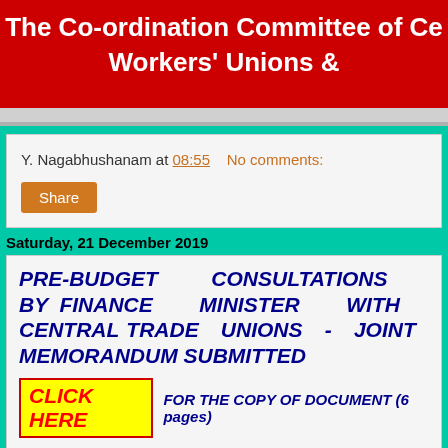[Figure (other): Red banner header with white bold text: 'The Co-ordination Committee of Ce... Workers' Unions &']
Y. Nagabhushanam at 08:55    No comments:
Share
Saturday, 21 December 2019
PRE-BUDGET CONSULTATIONS BY FINANCE MINISTER WITH CENTRAL TRADE UNIONS - JOINT MEMORANDUM SUBMITTED
CLICK HERE   FOR THE COPY OF DOCUMENT (6 pages)